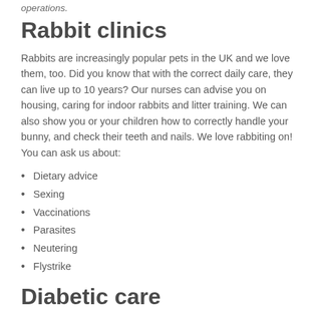operations.
Rabbit clinics
Rabbits are increasingly popular pets in the UK and we love them, too. Did you know that with the correct daily care, they can live up to 10 years? Our nurses can advise you on housing, caring for indoor rabbits and litter training. We can also show you or your children how to correctly handle your bunny, and check their teeth and nails. We love rabbiting on! You can ask us about:
Dietary advice
Sexing
Vaccinations
Parasites
Neutering
Flystrike
Diabetic care
If you're learning to live with a pet who's diabetic, you'll